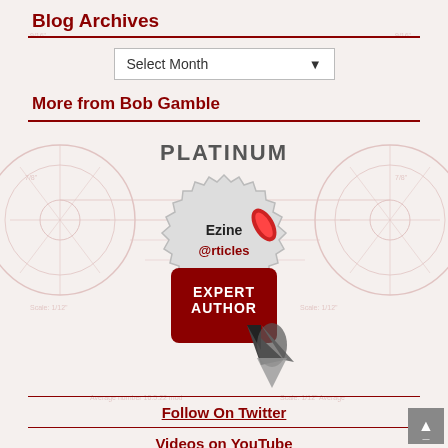Blog Archives
[Figure (screenshot): Dropdown selector showing 'Select Month' with a down-arrow chevron]
More from Bob Gamble
[Figure (logo): EzineArticles.com Platinum Expert Author badge with pen nib graphic]
Follow On Twitter
Videos on YouTube